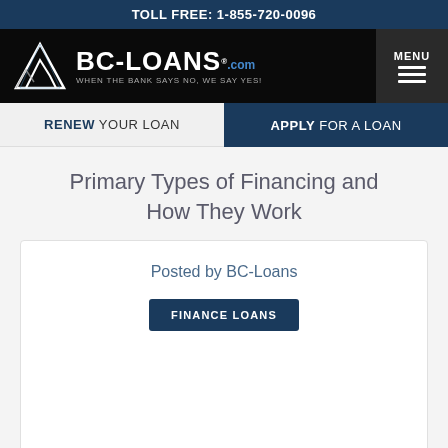TOLL FREE: 1-855-720-0096
[Figure (logo): BC-Loans.com logo with mountain icon and tagline 'WHEN THE BANK SAYS NO, WE SAY YES!' with MENU navigation button]
RENEW YOUR LOAN   APPLY FOR A LOAN
Primary Types of Financing and How They Work
Posted by BC-Loans
FINANCE LOANS